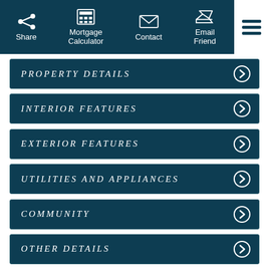Share | Mortgage Calculator | Contact | Email Friend
PROPERTY DETAILS
INTERIOR FEATURES
EXTERIOR FEATURES
UTILITIES AND APPLIANCES
COMMUNITY
OTHER DETAILS